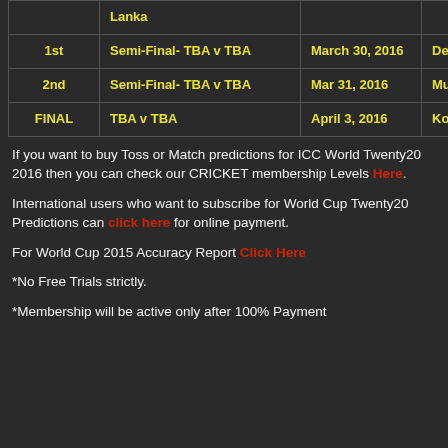|  | Match | Date | Venue |
| --- | --- | --- | --- |
|  | Lanka |  |  |
| 1st | Semi-Final- TBA v TBA | March 30, 2016 | Delhi |
| 2nd | Semi-Final- TBA v TBA | Mar 31, 2016 | Mumbai |
| FINAL | TBA v TBA | April 3, 2016 | Kolkata |
If you want to buy Toss or Match predictions for ICC World Twenty20 2016 then you can check our CRICKET membership Levels Here.
International users who want to subscribe for World Cup Twenty20 Predictions can click here for online payment.
For World Cup 2015 Accuracy Report Click Here
*No Free Trials strictly.
*Membership will be active only after 100% Payment